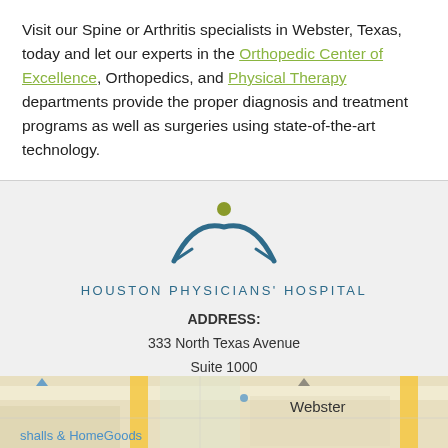Visit our Spine or Arthritis specialists in Webster, Texas, today and let our experts in the Orthopedic Center of Excellence, Orthopedics, and Physical Therapy departments provide the proper diagnosis and treatment programs as well as surgeries using state-of-the-art technology.
[Figure (logo): Houston Physicians' Hospital logo with teal arc and olive dot figure above text reading HOUSTON PHYSICIANS' HOSPITAL]
ADDRESS:
333 North Texas Avenue
Suite 1000
Webster, Texas 77598
PHONE: (281) 729-6270
[Figure (map): Partial map showing Webster, Texas area with streets, map labels including 'shalls & HomeGoods' and 'Webster']